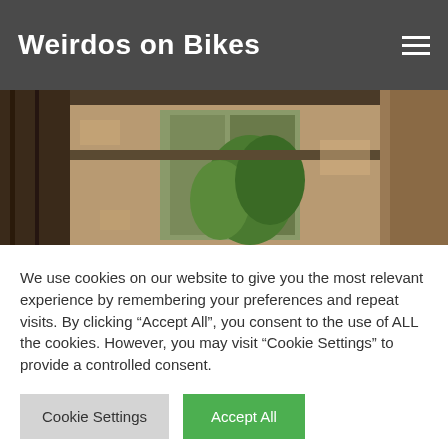Weirdos on Bikes
[Figure (photo): Photo of an abandoned or ruined interior room with old wooden beams, peeling walls, and green plants growing inside.]
We use cookies on our website to give you the most relevant experience by remembering your preferences and repeat visits. By clicking “Accept All”, you consent to the use of ALL the cookies. However, you may visit “Cookie Settings” to provide a controlled consent.
[Figure (photo): Photo of a derelict brick building interior with tools leaning against walls, exposed rubble, and pipes visible.]